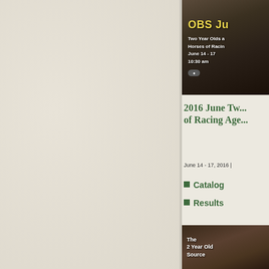[Figure (photo): OBS June sale advertisement banner showing horse, with text 'OBS Ju...' in yellow, 'Two Year Olds a... Horses of Racin... June 14 - 17, 10:30 am' in white]
2016 June Two Year Olds and Horses of Racing Age
June 14 - 17, 2016 |
Catalog
Results
[Figure (photo): The 2 Year Old Source advertisement image showing horses and riders]